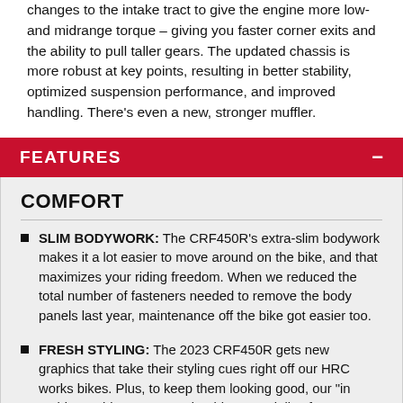changes to the intake tract to give the engine more low- and midrange torque – giving you faster corner exits and the ability to pull taller gears. The updated chassis is more robust at key points, resulting in better stability, optimized suspension performance, and improved handling. There's even a new, stronger muffler.
FEATURES
COMFORT
SLIM BODYWORK: The CRF450R's extra-slim bodywork makes it a lot easier to move around on the bike, and that maximizes your riding freedom. When we reduced the total number of fasteners needed to remove the body panels last year, maintenance off the bike got easier too.
FRESH STYLING: The 2023 CRF450R gets new graphics that take their styling cues right off our HRC works bikes. Plus, to keep them looking good, our "in mold" graphics are more durable, especially after repeated track sessions and